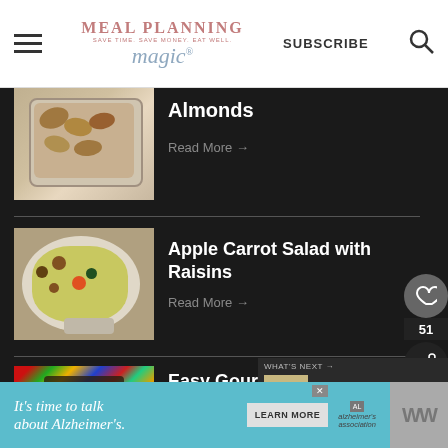MEAL PLANNING magic® SUBSCRIBE
Almonds
Read More →
Apple Carrot Salad with Raisins
Read More →
Easy Gourmet Kahlua Sugared
WHAT'S NEXT → Bacon Spinach...
It's time to talk about Alzheimer's. LEARN MORE